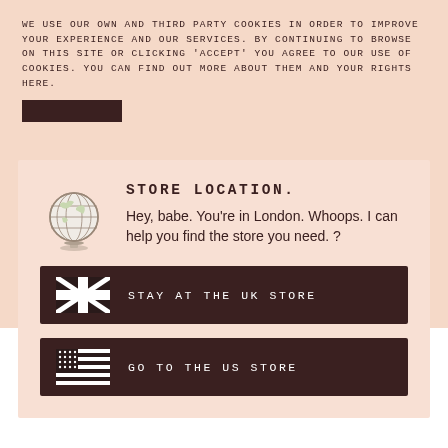WE USE OUR OWN AND THIRD PARTY COOKIES IN ORDER TO IMPROVE YOUR EXPERIENCE AND OUR SERVICES. BY CONTINUING TO BROWSE ON THIS SITE OR CLICKING 'ACCEPT' YOU AGREE TO OUR USE OF COOKIES. YOU CAN FIND OUT MORE ABOUT THEM AND YOUR RIGHTS HERE.
STORE LOCATION.
Hey, babe. You're in London. Whoops. I can help you find the store you need. ?
STAY AT THE UK STORE
GO TO THE US STORE
5. DO have a plan. Star jumps for 30 minutes is not fun.